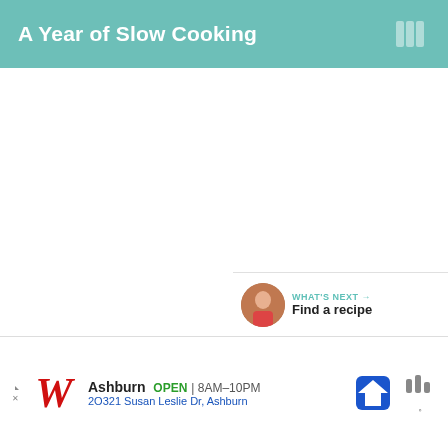A Year of Slow Cooking
[Figure (screenshot): White content area, mostly blank]
2
WHAT'S NEXT → Find a recipe
[Figure (other): Advertisement banner: Walgreens - Ashburn OPEN 8AM–10PM, 2O321 Susan Leslie Dr, Ashburn]